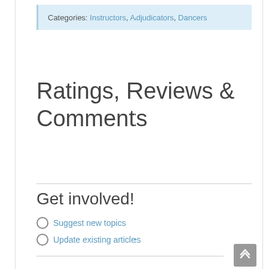Categories: Instructors, Adjudicators, Dancers
Ratings, Reviews & Comments
Get involved!
Suggest new topics
Update existing articles